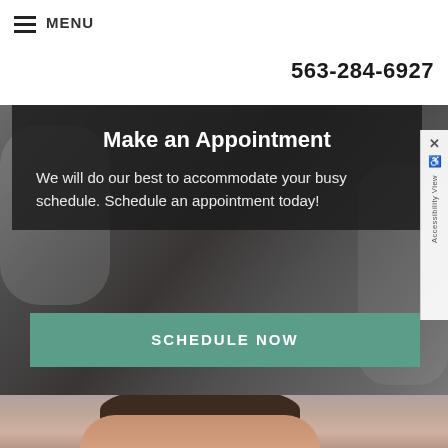MENU
563-284-6927
Make an Appointment
We will do our best to accommodate your busy schedule. Schedule an appointment today!
SCHEDULE NOW
[Figure (photo): Person with short dark hair, head tilted back, visible on lower portion of page]
Accessibility View